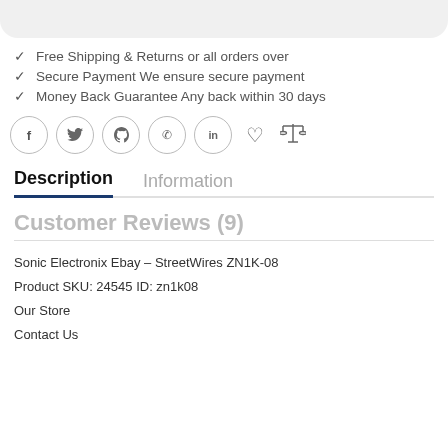✓  Free Shipping & Returns or all orders over
✓  Secure Payment We ensure secure payment
✓  Money Back Guarantee Any back within 30 days
[Figure (infographic): Social media share icons: Facebook, Twitter, Pinterest, WhatsApp, LinkedIn (each in a circle), plus a heart icon and a balance/compare scale icon]
Description
Information
Customer Reviews (9)
Sonic Electronix Ebay – StreetWires ZN1K-08
Product SKU: 24545 ID: zn1k08
Our Store
Contact Us